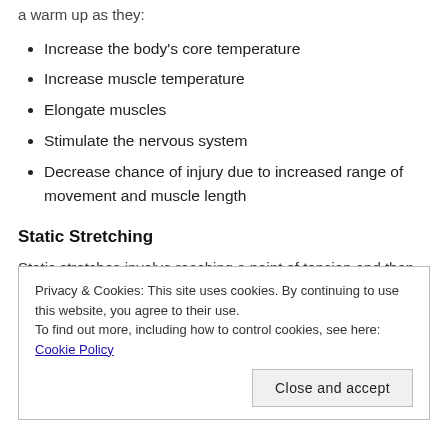a warm up as they:
Increase the body's core temperature
Increase muscle temperature
Elongate muscles
Stimulate the nervous system
Decrease chance of injury due to increased range of movement and muscle length
Static Stretching
Static stretches involve reaching a point of tension and then
Privacy & Cookies: This site uses cookies. By continuing to use this website, you agree to their use.
To find out more, including how to control cookies, see here: Cookie Policy
Close and accept
a point of tension and then with